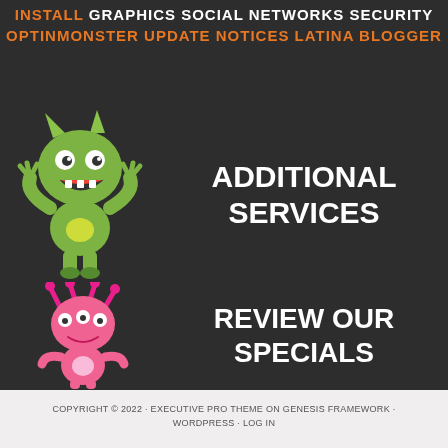INSTALL GRAPHICS SOCIAL NETWORKS SECURITY OPTINMONSTER UPDATE NOTICES LATINA BLOGGER
[Figure (illustration): Green cartoon monster character with horns, claws raised, open mouth showing teeth]
ADDITIONAL SERVICES
[Figure (illustration): Pink cartoon monster character with tentacles on head, three eyes, small body]
REVIEW OUR SPECIALS
COPYRIGHT © 2022 · EXECUTIVE PRO THEME ON GENESIS FRAMEWORK · WORDPRESS · LOG IN